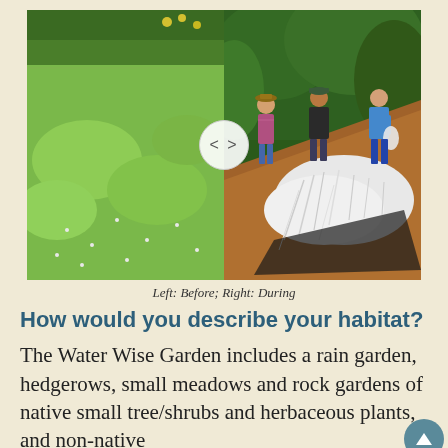[Figure (photo): Two side-by-side photos. Left: a grassy lawn area with green vegetation and trees in background (Before). Right: Three people working on a garden slope with shredded paper mulch and exposed dirt (During).]
Left: Before; Right: During
How would you describe your habitat?
The Water Wise Garden includes a rain garden, hedgerows, small meadows and rock gardens of native small tree/shrubs and herbaceous plants, and non-native